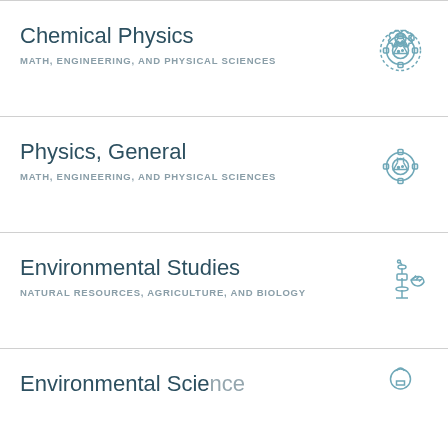Chemical Physics
MATH, ENGINEERING, AND PHYSICAL SCIENCES
[Figure (illustration): Gear icon with a flask/beaker inside, teal/slate color scheme]
Physics, General
MATH, ENGINEERING, AND PHYSICAL SCIENCES
[Figure (illustration): Gear icon with a flask/beaker inside, teal/slate color scheme]
Environmental Studies
NATURAL RESOURCES, AGRICULTURE, AND BIOLOGY
[Figure (illustration): Microscope with a leaf icon, teal/slate color scheme]
Environmental Science
[Figure (illustration): Partial icon visible at bottom, teal/slate color scheme]